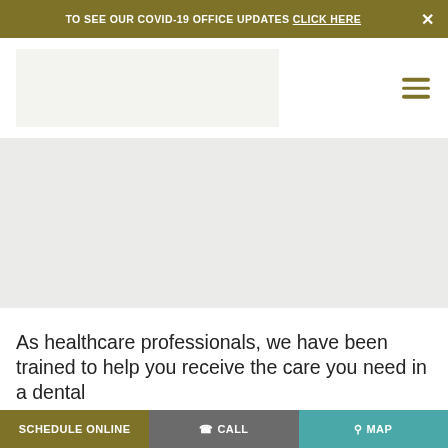TO SEE OUR COVID-19 OFFICE UPDATES CLICK HERE ✕
[Figure (logo): Dental practice logo placeholder (light gray rectangle)]
[Figure (illustration): Hamburger menu icon (three horizontal olive/gold lines)]
[Figure (photo): Hero image placeholder (large light gray rectangle spanning full width)]
As healthcare professionals, we have been trained to help you receive the care you need in a dental
SCHEDULE ONLINE   ☎ CALL   ⚲ Map